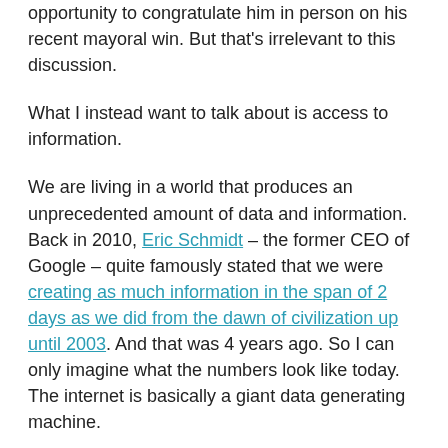opportunity to congratulate him in person on his recent mayoral win. But that's irrelevant to this discussion.
What I instead want to talk about is access to information.
We are living in a world that produces an unprecedented amount of data and information. Back in 2010, Eric Schmidt – the former CEO of Google – quite famously stated that we were creating as much information in the span of 2 days as we did from the dawn of civilization up until 2003. And that was 4 years ago. So I can only imagine what the numbers look like today. The internet is basically a giant data generating machine.
But a lot of that information isn't all that useful and much of the really useful information that's out there isn't yet digitally accessible in the ways that we have now become accustomed to. For example, for me to access old drawings and documents